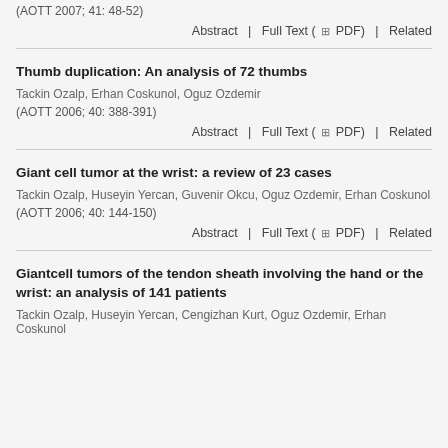(AOTT 2007; 41: 48-52)
Abstract  |  Full Text ( PDF)  |  Related
Thumb duplication: An analysis of 72 thumbs
Tackin Ozalp, Erhan Coskunol, Oguz Ozdemir
(AOTT 2006; 40: 388-391)
Abstract  |  Full Text ( PDF)  |  Related
Giant cell tumor at the wrist: a review of 23 cases
Tackin Ozalp, Huseyin Yercan, Guvenir Okcu, Oguz Ozdemir, Erhan Coskunol
(AOTT 2006; 40: 144-150)
Abstract  |  Full Text ( PDF)  |  Related
Giantcell tumors of the tendon sheath involving the hand or the wrist: an analysis of 141 patients
Tackin Ozalp, Huseyin Yercan, Cengizhan Kurt, Oguz Ozdemir, Erhan Coskunol